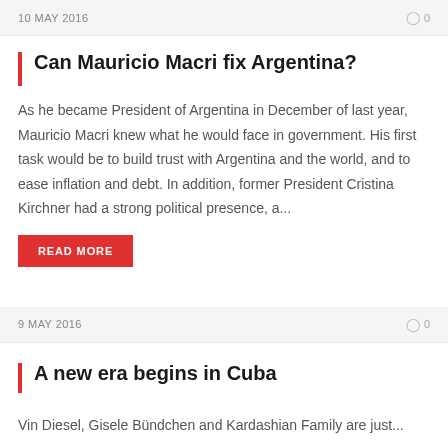10 MAY 2016   ◯ 0
Can Mauricio Macri fix Argentina?
As he became President of Argentina in December of last year, Mauricio Macri knew what he would face in government. His first task would be to build trust with Argentina and the world, and to ease inflation and debt. In addition, former President Cristina Kirchner had a strong political presence, a...
READ MORE
9 MAY 2016   ◯ 0
A new era begins in Cuba
Vin Diesel, Gisele Bündchen and Kardashian Family are just...